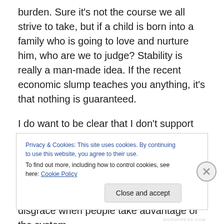burden.  Sure it's not the course we all strive to take, but if a child is born into a family who is going to love and nurture him, who are we to judge?  Stability is really a man-made idea.  If the recent economic slump teaches you anything, it's that nothing is guaranteed.
I do want to be clear that I don't support people who have children and then rely solely on the government to fund their rearing.  Those programs are put into place to help families who are trying to better themselves and I think it's a disgrace when people take advantage of the system
Privacy & Cookies: This site uses cookies. By continuing to use this website, you agree to their use.
To find out more, including how to control cookies, see here: Cookie Policy